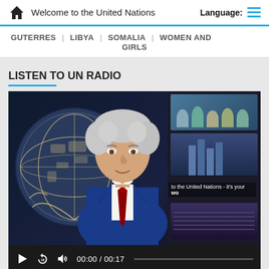Welcome to the United Nations | Language:
GUTERRES | LIBYA | SOMALIA | WOMEN AND GIRLS
LISTEN TO UN RADIO
[Figure (photo): A man with curly gray hair in a blue suit and red tie stands in front of a UN emblem logo backdrop. Behind him is a collage of images. A video player interface is visible at the bottom with controls showing 00:00 / 00:17.]